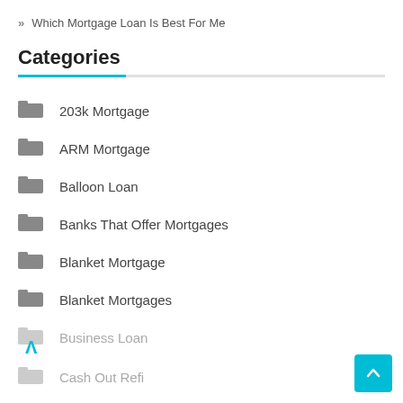» Which Mortgage Loan Is Best For Me
Categories
203k Mortgage
ARM Mortgage
Balloon Loan
Banks That Offer Mortgages
Blanket Mortgage
Blanket Mortgages
Business Loan
Cash Out Refi